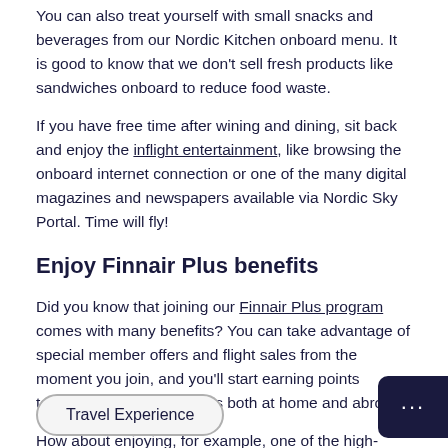You can also treat yourself with small snacks and beverages from our Nordic Kitchen onboard menu. It is good to know that we don't sell fresh products like sandwiches onboard to reduce food waste.
If you have free time after wining and dining, sit back and enjoy the inflight entertainment, like browsing the onboard internet connection or one of the many digital magazines and newspapers available via Nordic Sky Portal. Time will fly!
Enjoy Finnair Plus benefits
Did you know that joining our Finnair Plus program comes with many benefits? You can take advantage of special member offers and flight sales from the moment you join, and you'll start earning points towards numerous rewards both at home and abroad.
How about enjoying, for example, one of the high-quality Finnair Plus partner hotels around the world - using and earning Finnair Plus points at the same time.
Travel Experience